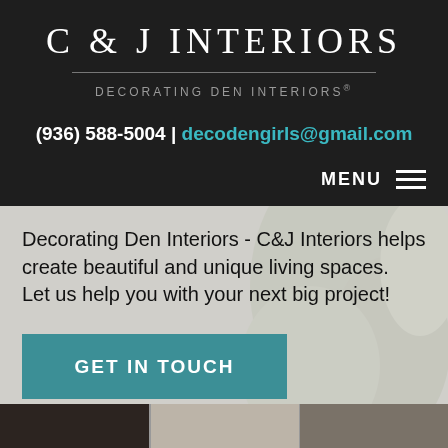C & J INTERIORS
DECORATING DEN INTERIORS®
(936) 588-5004 | decodengirls@gmail.com
MENU
Decorating Den Interiors - C&J Interiors helps create beautiful and unique living spaces. Let us help you with your next big project!
GET IN TOUCH
[Figure (photo): Bottom photo strip showing interior decoration scenes in three panels]